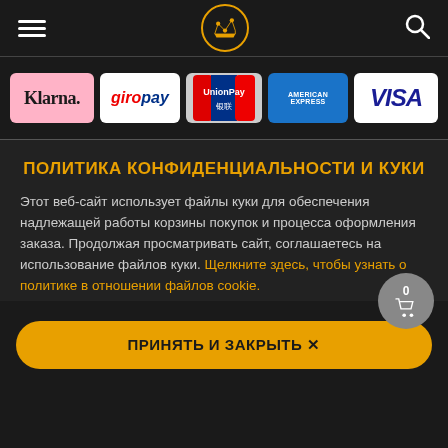Navigation header with hamburger menu, crown logo, and search icon
[Figure (logo): Payment method logos: Klarna, GiroPay, UnionPay, American Express, VISA]
ПОЛИТИКА КОНФИДЕНЦИАЛЬНОСТИ И КУКИ
Этот веб-сайт использует файлы куки для обеспечения надлежащей работы корзины покупок и процесса оформления заказа. Продолжая просматривать сайт, соглашаетесь на использование файлов куки. Щелкните здесь, чтобы узнать о политике в отношении файлов cookie.
ПРИНЯТЬ И ЗАКРЫТЬ ✕